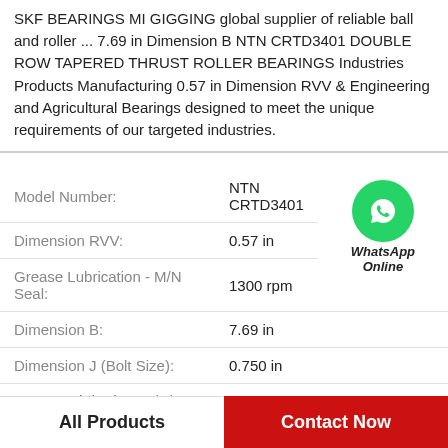SKF BEARINGS MI GIGGING global supplier of reliable ball and roller ... 7.69 in Dimension B NTN CRTD3401 DOUBLE ROW TAPERED THRUST ROLLER BEARINGS Industries Products Manufacturing 0.57 in Dimension RVV & Engineering and Agricultural Bearings designed to meet the unique requirements of our targeted industries.
| Field | Value |
| --- | --- |
| Model Number: | NTN CRTD3401 |
| Dimension RVV: | 0.57 in |
| Grease Lubrication - M/N Seal: | 1300 rpm |
| Dimension B: | 7.69 in |
| Dimension J (Bolt Size): | 0.750 in |
| Grease Lubrication - B/C/O Seal: | 950 rpm |
All Products
Contact Now